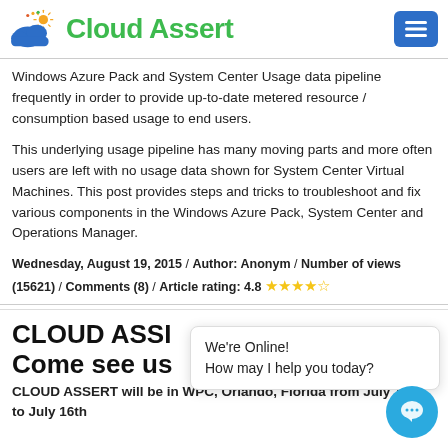Cloud Assert
Windows Azure Pack and System Center Usage data pipeline frequently in order to provide up-to-date metered resource / consumption based usage to end users.
This underlying usage pipeline has many moving parts and more often users are left with no usage data shown for System Center Virtual Machines. This post provides steps and tricks to troubleshoot and fix various components in the Windows Azure Pack, System Center and Operations Manager.
Wednesday, August 19, 2015 / Author: Anonym / Number of views (15621) / Comments (8) / Article rating: 4.8 ★★★★★
CLOUD ASSERT Come see us
CLOUD ASSERT will be in WPC, Orlando, Florida from July 12th to July 16th